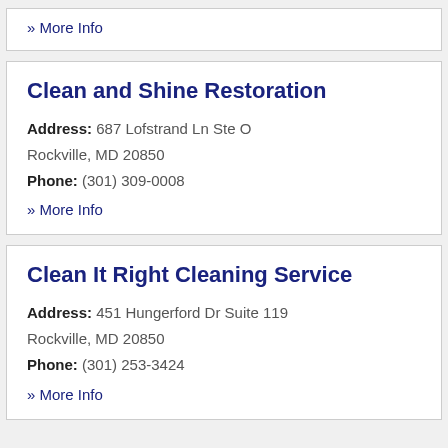» More Info
Clean and Shine Restoration
Address: 687 Lofstrand Ln Ste O Rockville, MD 20850
Phone: (301) 309-0008
» More Info
Clean It Right Cleaning Service
Address: 451 Hungerford Dr Suite 119 Rockville, MD 20850
Phone: (301) 253-3424
» More Info